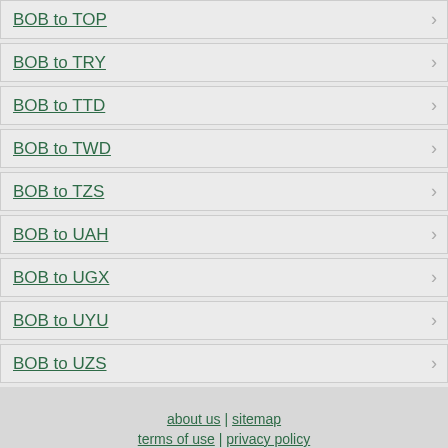BOB to TOP
BOB to TRY
BOB to TTD
BOB to TWD
BOB to TZS
BOB to UAH
BOB to UGX
BOB to UYU
BOB to UZS
about us | sitemap
terms of use | privacy policy
© 2008 - 2022 unitconverters.net